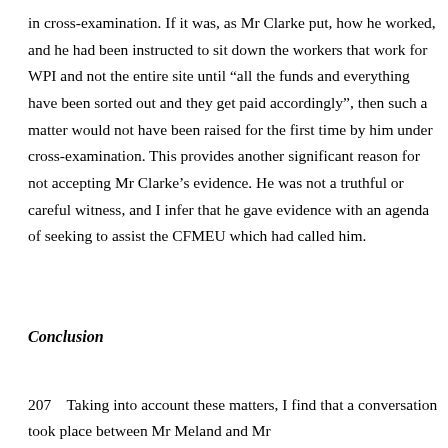in cross-examination. If it was, as Mr Clarke put, how he worked, and he had been instructed to sit down the workers that work for WPI and not the entire site until “all the funds and everything have been sorted out and they get paid accordingly”, then such a matter would not have been raised for the first time by him under cross-examination. This provides another significant reason for not accepting Mr Clarke’s evidence. He was not a truthful or careful witness, and I infer that he gave evidence with an agenda of seeking to assist the CFMEU which had called him.
Conclusion
207    Taking into account these matters, I find that a conversation took place between Mr Meland and Mr